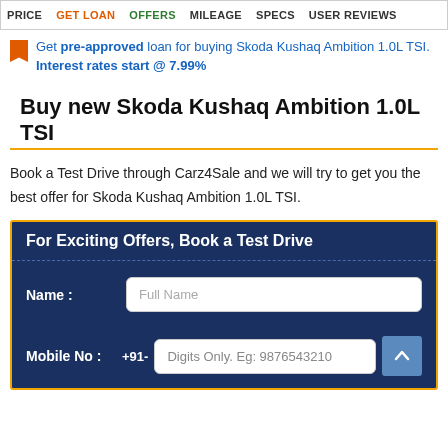PRICE  GET LOAN  OFFERS  MILEAGE  SPECS  USER REVIEWS
Get pre-approved loan for buying Skoda Kushaq Ambition 1.0L TSI. Interest rates start @ 7.99%
Buy new Skoda Kushaq Ambition 1.0L TSI
Book a Test Drive through Carz4Sale and we will try to get you the best offer for Skoda Kushaq Ambition 1.0L TSI.
For Exciting Offers, Book a Test Drive
Name : Full Name
Mobile No : +91- Digits Only. Eg: 9876543210